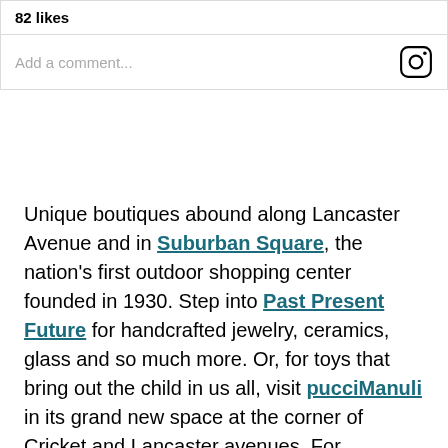82 likes
Add a comment...
Unique boutiques abound along Lancaster Avenue and in Suburban Square, the nation's first outdoor shopping center founded in 1930. Step into Past Present Future for handcrafted jewelry, ceramics, glass and so much more. Or, for toys that bring out the child in us all, visit pucciManuli in its grand new space at the corner of Cricket and Lancaster avenues. For contemporary women's clothing, Styche is where you will find pieces for any occasion.
And for movie lovers who still love to browse in video stores, Viva Video touts itself as the Last Picture Show for good reason: A knowledgeable